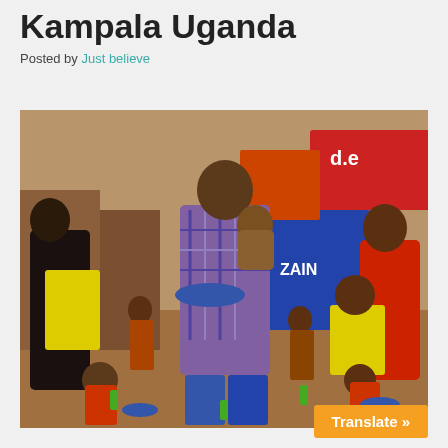Kampala Uganda
Posted by Just believe
[Figure (photo): A man in a plaid shirt holding a baby and a plate of food, surrounded by many children and people eating in an outdoor slum setting in Kampala, Uganda. Colorful advertising banners visible in the background.]
Translate »